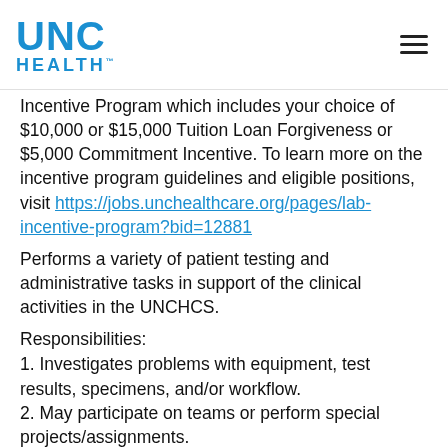UNC HEALTH
Incentive Program which includes your choice of $10,000 or $15,000 Tuition Loan Forgiveness or $5,000 Commitment Incentive. To learn more on the incentive program guidelines and eligible positions,
visit https://jobs.unchealthcare.org/pages/lab-incentive-program?bid=12881
Performs a variety of patient testing and administrative tasks in support of the clinical activities in the UNCHCS.
Responsibilities:
1. Investigates problems with equipment, test results, specimens, and/or workflow.
2. May participate on teams or perform special projects/assignments.
3. May perform training of Clinical Laboratory...